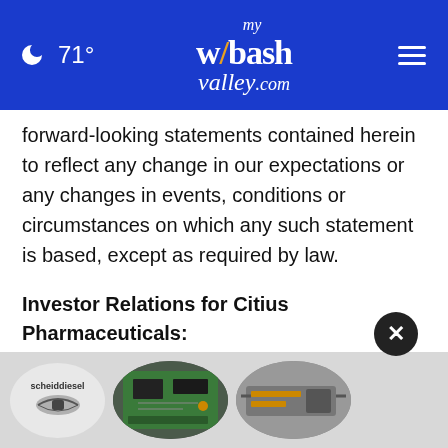71° mywabashvalley.com
forward-looking statements contained herein to reflect any change in our expectations or any changes in events, conditions or circumstances on which any such statement is based, except as required by law.
Investor Relations for Citius Pharmaceuticals:
Ilanit Allen
Vice President, Investor Relations and Corporate Communications